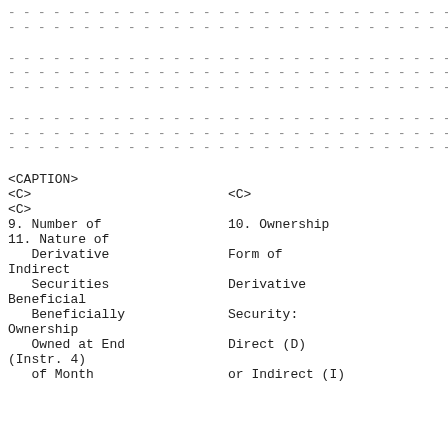- - - - - - - - - - - - - - - - - - - - - - - - - - - - - - - - - -
- - - - - - - - - - - - - - - - - - - - - - - - - - - - - - - -
- - - - - - - - - - - - - - - - - - - - - - - - - - - - - - - - - -
- - - - - - - - - - - - - - - - - - - - - - - - - - - - - - - - - -
- - - - - - - - - - - - - - - - - - - - - - - - - - - - - - - - - -
- - - - - - - - - - - - - - - - - - - - - - - - - - - - - - - - - -
- - - - - - - - - - - - - - - - - - - - - - - - - - - - - - - - - -
- - - - - - - - - - - - - - - - - - - - - - - - - - - - - - - - - -
| <CAPTION> |  |
| --- | --- |
| <C> | <C> |
| <C> |  |
| 9. Number of | 10. Ownership |
| 11. Nature of |  |
|    Derivative | Form of |
| Indirect |  |
|    Securities | Derivative |
| Beneficial |  |
|    Beneficially | Security: |
| Ownership |  |
|    Owned at End | Direct (D) |
| (Instr. 4) |  |
|    of Month | or Indirect (I) |